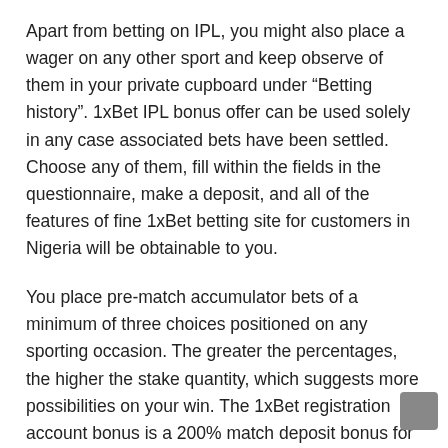Apart from betting on IPL, you might also place a wager on any other sport and keep observe of them in your private cupboard under “Betting history”. 1xBet IPL bonus offer can be used solely in any case associated bets have been settled. Choose any of them, fill within the fields in the questionnaire, make a deposit, and all of the features of fine 1xBet betting site for customers in Nigeria will be obtainable to you.
You place pre-match accumulator bets of a minimum of three choices positioned on any sporting occasion. The greater the percentages, the higher the stake quantity, which suggests more possibilities on your win. The 1xBet registration account bonus is a 200% match deposit bonus for which gamers in Nigeria are eligible. The general bonus comprises a 200% sportsbook and one hundred pc casino bonus. The platform contains the world cup, Confederation Cup, Champions League, and UEFA European League match x1bet apk, competitions in the space of football. You will certainly by no means exhaust your choices